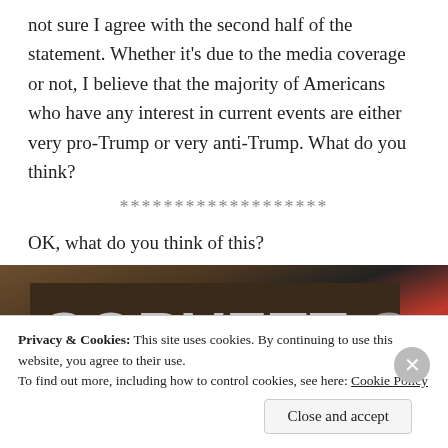not sure I agree with the second half of the statement. Whether it's due to the media coverage or not, I believe that the majority of Americans who have any interest in current events are either very pro-Trump or very anti-Trump. What do you think?
*******************
OK, what do you think of this?
[Figure (photo): Close-up photo of a Corvette badge/emblem on a car, with red and dark body panel visible]
Privacy & Cookies: This site uses cookies. By continuing to use this website, you agree to their use.
To find out more, including how to control cookies, see here: Cookie Policy
Close and accept